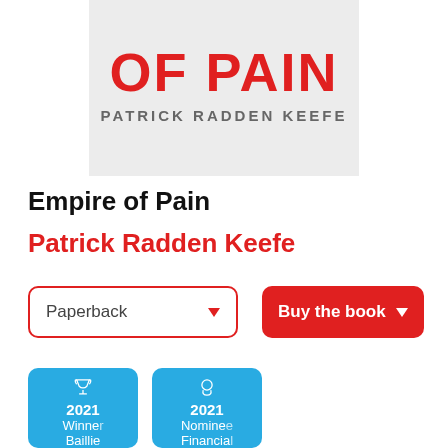[Figure (illustration): Book cover of 'Empire of Pain' by Patrick Radden Keefe showing red bold title text and gray subtitle on light gray background]
Empire of Pain
Patrick Radden Keefe
Paperback
Buy the book
2021 Winner Baillie
2021 Nominee Financial